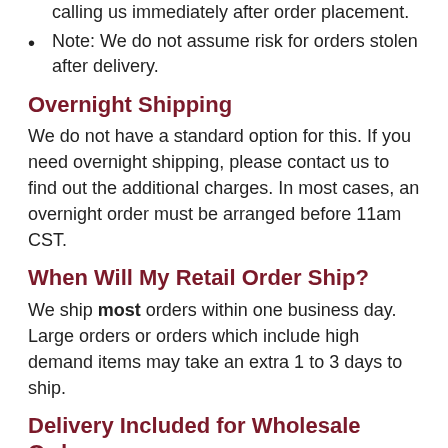calling us immediately after order placement.
Note: We do not assume risk for orders stolen after delivery.
Overnight Shipping
We do not have a standard option for this. If you need overnight shipping, please contact us to find out the additional charges. In most cases, an overnight order must be arranged before 11am CST.
When Will My Retail Order Ship?
We ship most orders within one business day. Large orders or orders which include high demand items may take an extra 1 to 3 days to ship.
Delivery Included for Wholesale Orders
For orders $99 plus, our prices include shipping within the lower 48. In other words, there will not be a line item on your invoice for freight.
If you are comparing us to a vendor that does not provide free shipping, please keep in mind that a truckload, pallet,